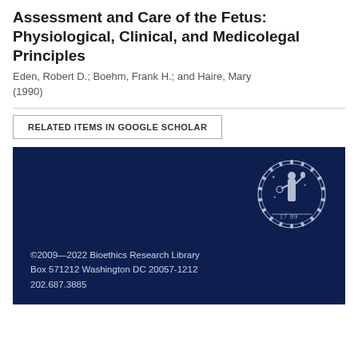Assessment and Care of the Fetus: Physiological, Clinical, and Medicolegal Principles
Eden, Robert D.; Boehm, Frank H.; and Haire, Mary (1990)
RELATED ITEMS IN GOOGLE SCHOLAR
[Figure (logo): Georgetown University seal with the year 1789, showing a figure with torch and globe surrounded by a decorative wreath border]
©2009—2022 Bioethics Research Library Box 571212 Washington DC 20057-1212 202.687.3885